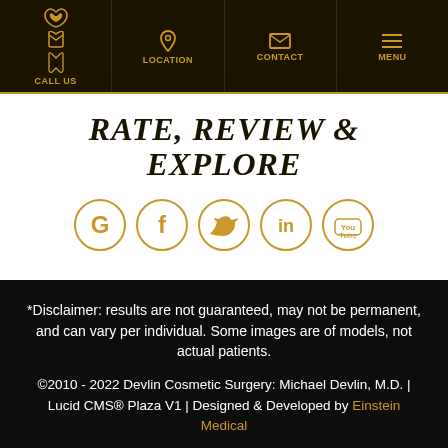CALL US | LOCATION | CONTACT | MENU
RATE, REVIEW & EXPLORE
[Figure (other): Five social media icons in gold circles: Google, Facebook, Twitter, LinkedIn, YouTube]
*Disclaimer: results are not guaranteed, may not be permanent, and can vary per individual. Some images are of models, not actual patients.
©2010 - 2022 Devlin Cosmetic Surgery: Michael Devlin, M.D. | Lucid CMS® Plaza V1 | Designed & Developed by Einstein Medical
Sitemap | Privacy Policy | Login